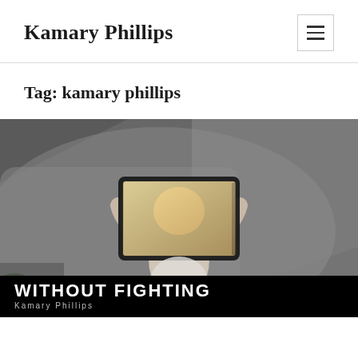Kamary Phillips
Tag: kamary phillips
[Figure (photo): Overhead view of a child holding up a tablet device showing a person on screen, photographed from above on a grey carpet and floor surface. Overlaid text at bottom reads WITHOUT FIGHTING and Kamary Phillips.]